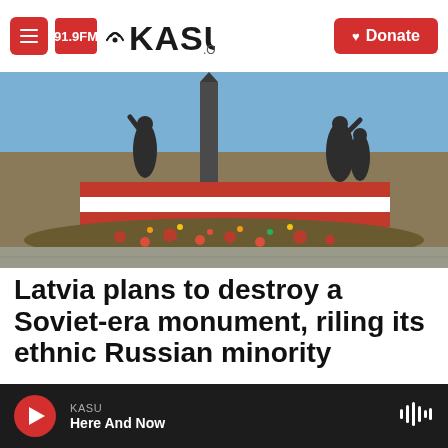91.9FM KASU.ORG | Donate
[Figure (photo): Soviet-era monument in Latvia with flowers laid at base, red-white-red Latvian flag stripes on the wall, and bronze soldier statues against a blue sky]
Latvia plans to destroy a Soviet-era monument, riling its ethnic Russian minority
Rob Schmitz, August 18, 2022
KASU Here And Now